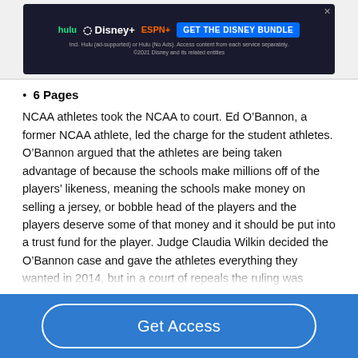[Figure (screenshot): Advertisement banner for Disney Bundle (Hulu, Disney+, ESPN+) with dark background and blue CTA button]
6 Pages
NCAA athletes took the NCAA to court. Ed O’Bannon, a former NCAA athlete, led the charge for the student athletes. O’Bannon argued that the athletes are being taken advantage of because the schools make millions off of the players’ likeness, meaning the schools make money on selling a jersey, or bobble head of the players and the players deserve some of that money and it should be put into a trust fund for the player. Judge Claudia Wilkin decided the O’Bannon case and gave the athletes everything they wanted in 2014, but in a court of repeals the ruling was reversed and the college just had to pay for the
[Figure (screenshot): Get Access call-to-action button on blue background]